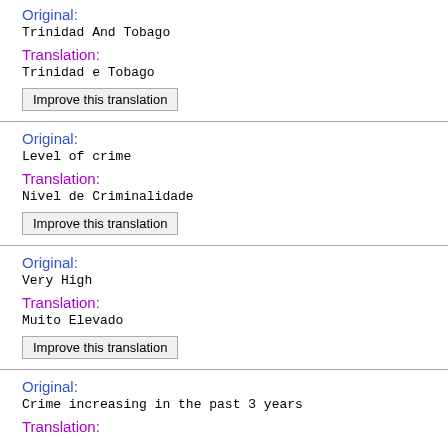Original:
Trinidad And Tobago
Translation:
Trinidad e Tobago
Improve this translation
Original:
Level of crime
Translation:
Nivel de Criminalidade
Improve this translation
Original:
Very High
Translation:
Muito Elevado
Improve this translation
Original:
Crime increasing in the past 3 years
Translation: